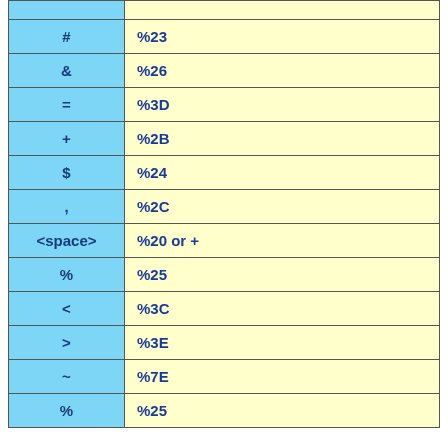| Character | URL Encoding |
| --- | --- |
| # | %23 |
| & | %26 |
| = | %3D |
| + | %2B |
| $ | %24 |
| , | %2C |
| <space> | %20 or + |
| % | %25 |
| < | %3C |
| > | %3E |
| ~ | %7E |
| % | %25 |